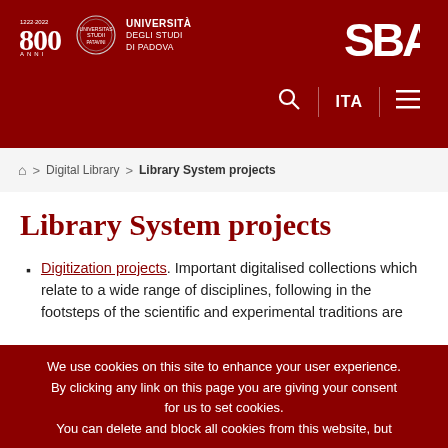Università degli Studi di Padova — SBA — 800 Anni
🏠 > Digital Library > Library System projects
Library System projects
Digitization projects. Important digitalised collections which relate to a wide range of disciplines, following in the footsteps of the scientific and experimental traditions are
We use cookies on this site to enhance your user experience. By clicking any link on this page you are giving your consent for us to set cookies. You can delete and block all cookies from this website, but